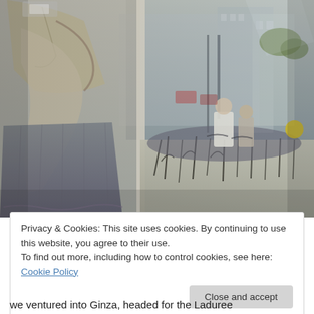[Figure (photo): Street scene viewed through a shop window in Ginza, Tokyo. Left side shows clothing/garment display with layered fabrics and a long skirt. Right side shows people on bicycles on a sandy street installation with dark plants, city buildings in background.]
Privacy & Cookies: This site uses cookies. By continuing to use this website, you agree to their use.
To find out more, including how to control cookies, see here: Cookie Policy
Close and accept
we ventured into Ginza, headed for the Laduree